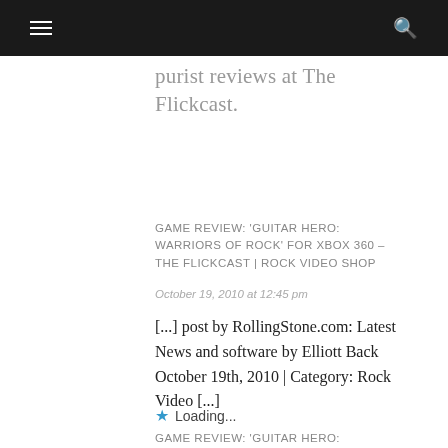☰  🔍
purist reviews at The Flickcast.
GAME REVIEW: 'GUITAR HERO: WARRIORS OF ROCK' FOR XBOX 360 – THE FLICKCAST | ROCK VIDEO SHOP
October 19, 2010 at 12:45 pm
[...] post by RollingStone.com: Latest News and software by Elliott Back October 19th, 2010 | Category: Rock Video [...]
Loading...
GAME REVIEW: 'GUITAR HERO: